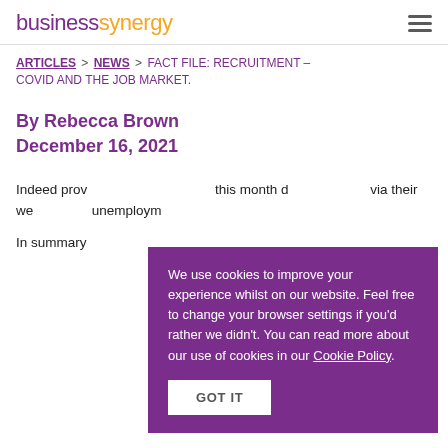businesssynergy
ARTICLES > NEWS > FACT FILE: RECRUITMENT – COVID AND THE JOB MARKET.
By Rebecca Brown
December 16, 2021
Indeed prov... this month d... via their we... unemploym...
In summary...
We use cookies to improve your experience whilst on our website. Feel free to change your browser settings if you'd rather we didn't. You can read more about our use of cookies in our Cookie Policy.
GOT IT